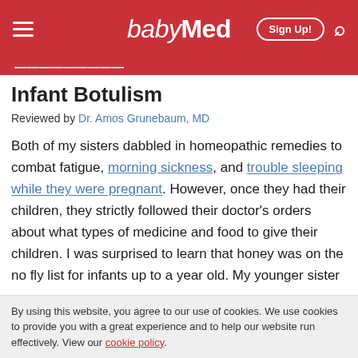babyMed — Sign Up!
Infant Botulism
Reviewed by Dr. Amos Grunebaum, MD
Both of my sisters dabbled in homeopathic remedies to combat fatigue, morning sickness, and trouble sleeping while they were pregnant. However, once they had their children, they strictly followed their doctor's orders about what types of medicine and food to give their children. I was surprised to learn that honey was on the no fly list for infants up to a year old. My younger sister
By using this website, you agree to our use of cookies. We use cookies to provide you with a great experience and to help our website run effectively. View our cookie policy.